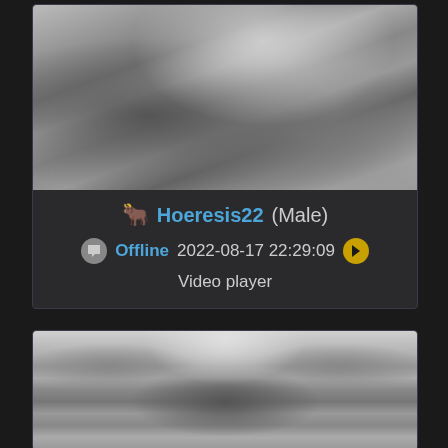[Figure (screenshot): Grayscale webcam screenshot showing a person lying on patterned fabric/bedding, upper torso and arms visible]
🐂 Hoeresis22 (Male)
Offline 2022-08-17 22:29:09 ▶ Video player
[Figure (screenshot): Grayscale webcam screenshot showing a man sitting, with wall art/lights visible in background]